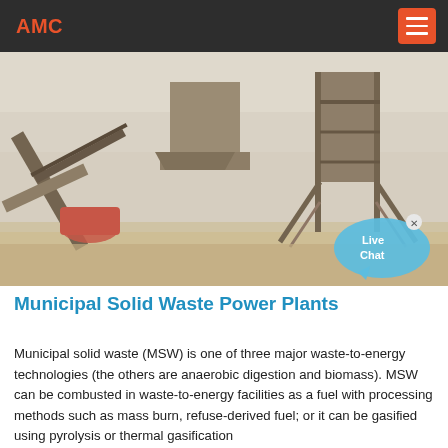AMC
[Figure (photo): Industrial machinery / municipal solid waste processing plant on outdoor site with conveyor belts, hoppers, and steel support structures in a dusty yard setting.]
Municipal Solid Waste Power Plants
Municipal solid waste (MSW) is one of three major waste-to-energy technologies (the others are anaerobic digestion and biomass). MSW can be combusted in waste-to-energy facilities as a fuel with processing methods such as mass burn, refuse-derived fuel; or it can be gasified using pyrolysis or thermal gasification